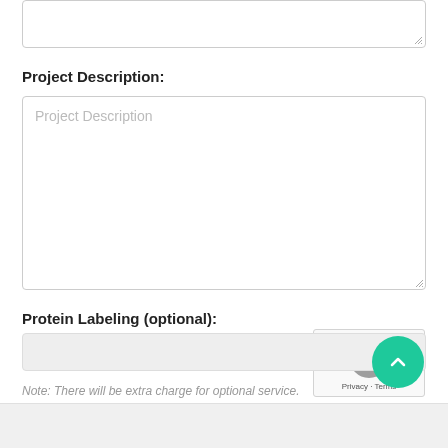[Figure (screenshot): A partially visible textarea input box at the top of the page with a resize handle in the bottom-right corner.]
Project Description:
[Figure (screenshot): A large textarea input with placeholder text 'Project Description'. A reCAPTCHA badge overlaps the bottom-right corner showing the reCAPTCHA logo and 'Privacy - Terms' text.]
Protein Labeling (optional):
[Figure (screenshot): A dropdown select input for Protein Labeling (optional) with a gray background and a checkmark/arrow on the right. A green circular scroll-to-top button overlaps the right side.]
Note: There will be extra charge for optional service.